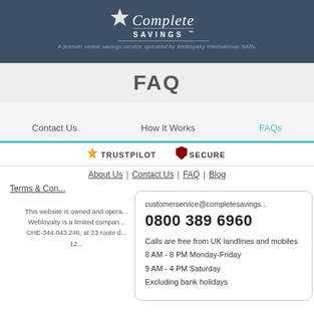Complete Savings™ — A premier online savings service operated by Webloyalty International SARL
FAQ
Contact Us | How It Works | FAQs
[Figure (other): Trustpilot and Secure trust badges]
About Us | Contact Us | FAQ | Blog
Terms & Con...
This website is owned and opera... Webloyalty is a limited compan... CHE-344.043.246, at 23 route d... 12...
customerservice@completesavings...
0800 389 6960
Calls are free from UK landlines and mobiles
8 AM - 8 PM Monday-Friday
9 AM - 4 PM Saturday
Excluding bank holidays